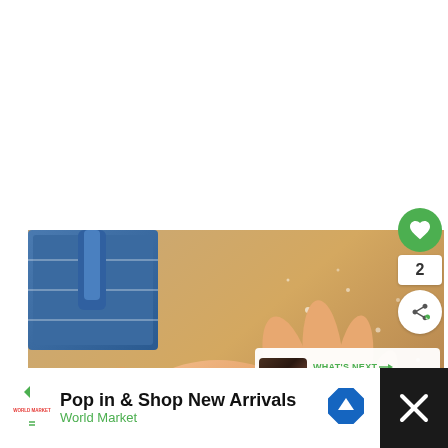[Figure (photo): Close-up photo of a hand kneading bread dough on a floured surface, with a blue cloth/brush visible in the upper left background. The dough is golden-yellow and the surface has scattered flour.]
2
WHAT'S NEXT → Oreo Dump Cake + Video
Pop in & Shop New Arrivals
World Market